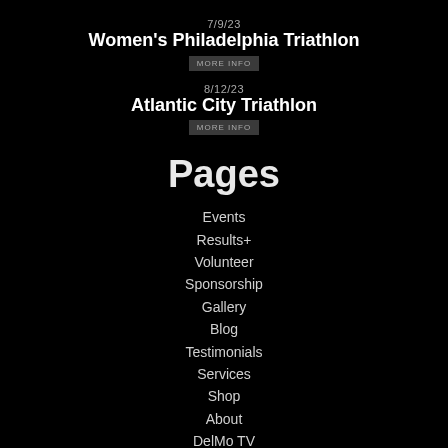7/9/23
Women's Philadelphia Triathlon
MORE INFO
8/12/23
Atlantic City Triathlon
MORE INFO
Pages
Events
Results+
Volunteer
Sponsorship
Gallery
Blog
Testimonials
Services
Shop
About
DelMo TV
Contact Us
info@delmosports.com
609.849.8908